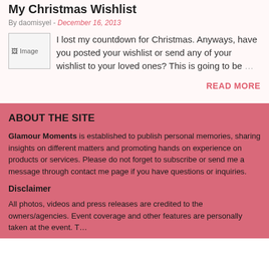My Christmas Wishlist
By daomisyel - December 16, 2013
I lost my countdown for Christmas. Anyways, have you posted your wishlist or send any of your wishlist to your loved ones? This is going to be …
READ MORE
ABOUT THE SITE
Glamour Moments is established to publish personal memories, sharing insights on different matters and promoting hands on experience on products or services. Please do not forget to subscribe or send me a message through contact me page if you have questions or inquiries.
Disclaimer
All photos, videos and press releases are credited to the owners/agencies. Event coverage and other features are personally taken at the event. The…